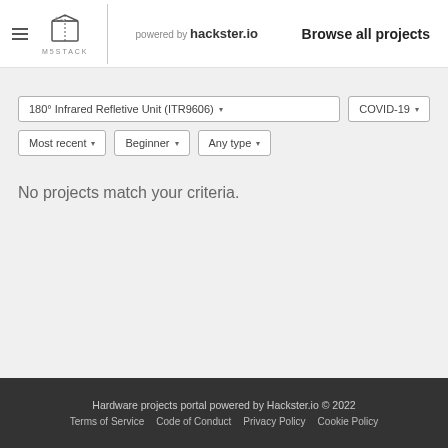M5STACK powered by hackster.io  Browse all projects
180° Infrared Refletive Unit (ITR9606) ▾   COVID-19 ▾
Most recent ▾   Beginner ▾   Any type ▾
No projects match your criteria.
Hardware projects portal powered by Hackster.io © 2022
Terms of Service   Code of Conduct   Privacy Policy   Cookie Policy